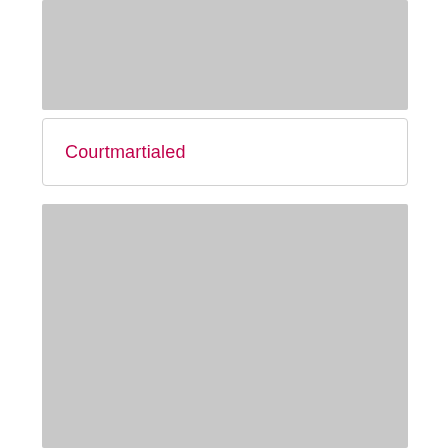[Figure (photo): Gray placeholder image at top of page]
Courtmartialed
[Figure (photo): Gray placeholder image at bottom of page]